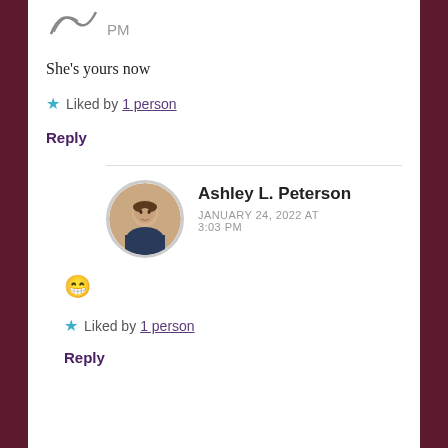PM
She's yours now
★ Liked by 1 person
Reply
Ashley L. Peterson
JANUARY 24, 2022 AT 3:03 PM
😁
★ Liked by 1 person
Reply